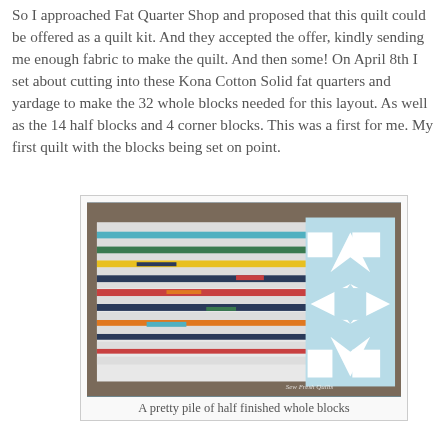So I approached Fat Quarter Shop and proposed that this quilt could be offered as a quilt kit.  And they accepted the offer, kindly sending me enough fabric to make the quilt.  And then some!  On April 8th I set about cutting into these Kona Cotton Solid fat quarters and yardage to make the 32 whole blocks needed for this layout.  As well as the 14 half blocks and 4 corner blocks.  This was a first for me.  My first quilt with the blocks being set on point.
[Figure (photo): A pretty pile of colorful half-finished quilt blocks stacked up, showing white fabric with colorful Kona Cotton Solid pieces including orange, red, green, blue, teal, yellow, and dark navy/grey strips visible from the side. On the right side a completed star block in light blue/white is visible. Photo watermarked 'Sew Fresh Quilts'.]
A pretty pile of half finished whole blocks